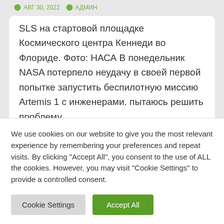АВГ 30, 2022  АДМИН
SLS на стартовой площадке Космического центра Кеннеди во Флориде. Фото: НАСА В понедельник NASA потерпело неудачу в своей первой попытке запустить беспилотную миссию Artemis 1 с инженерами. пытаюсь решить проблему…
We use cookies on our website to give you the most relevant experience by remembering your preferences and repeat visits. By clicking "Accept All", you consent to the use of ALL the cookies. However, you may visit "Cookie Settings" to provide a controlled consent.